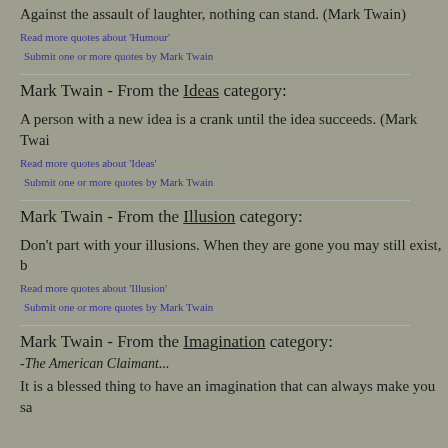Against the assault of laughter, nothing can stand. (Mark Twain)
Read more quotes about 'Humour'
Submit one or more quotes by Mark Twain
Mark Twain - From the Ideas category:
A person with a new idea is a crank until the idea succeeds. (Mark Twain)
Read more quotes about 'Ideas'
Submit one or more quotes by Mark Twain
Mark Twain - From the Illusion category:
Don't part with your illusions. When they are gone you may still exist, b...
Read more quotes about 'Illusion'
Submit one or more quotes by Mark Twain
Mark Twain - From the Imagination category:
-The American Claimant...
It is a blessed thing to have an imagination that can always make you sa...